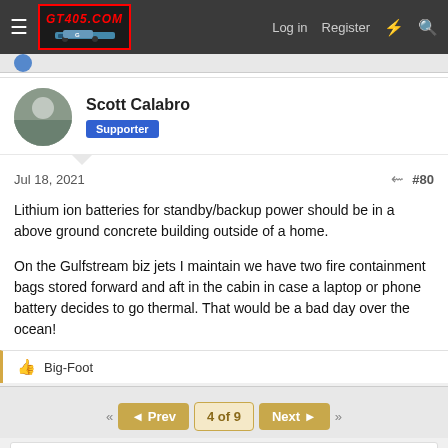GT405.COM — Log in | Register
Scott Calabro — Supporter
Jul 18, 2021  #80
Lithium ion batteries for standby/backup power should be in a above ground concrete building outside of a home.

On the Gulfstream biz jets I maintain we have two fire containment bags stored forward and aft in the cabin in case a laptop or phone battery decides to go thermal. That would be a bad day over the ocean!
👍 Big-Foot
◄◄  ◄ Prev  4 of 9  Next ►  ►►
You must log in or register to reply here.